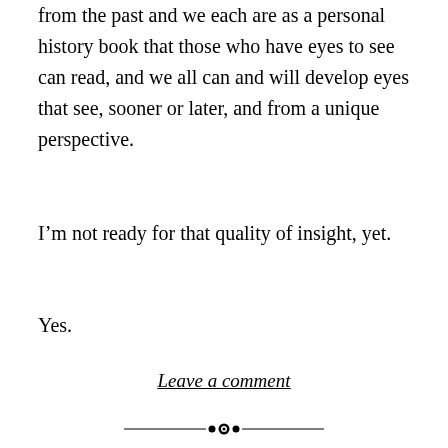from the past and we each are as a personal history book that those who have eyes to see can read, and we all can and will develop eyes that see, sooner or later, and from a unique perspective.
I’m not ready for that quality of insight, yet.
Yes.
Leave a comment